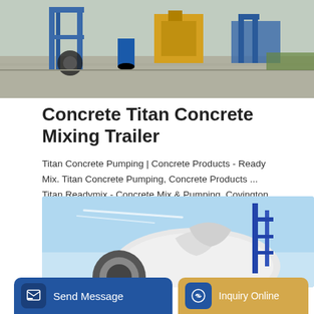[Figure (photo): Industrial concrete mixing equipment and trucks on a concrete yard, with blue metal structures and machinery visible]
Concrete Titan Concrete Mixing Trailer
Titan Concrete Pumping | Concrete Products - Ready Mix. Titan Concrete Pumping, Concrete Products ... Titan Readymix - Concrete Mix & Pumping, Covington, GA.
Learn More
[Figure (photo): Close-up of a white concrete mixer truck drum against a blue sky with cloud streaks, blue metal ladder visible]
Send Message
Inquiry Online